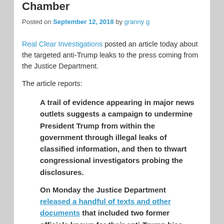Chamber
Posted on September 12, 2018 by granny g
Real Clear Investigations posted an article today about the targeted anti-Trump leaks to the press coming from the Justice Department.
The article reports:
A trail of evidence appearing in major news outlets suggests a campaign to undermine President Trump from within the government through illegal leaks of classified information, and then to thwart congressional investigators probing the disclosures.
On Monday the Justice Department released a handful of texts and other documents that included two former officials known for their anti-Trump bias – Peter Strzok and Lisa Page of the FBI – discussing the DOJ's “media leak strategy.” Strzok now says, through his lawyer